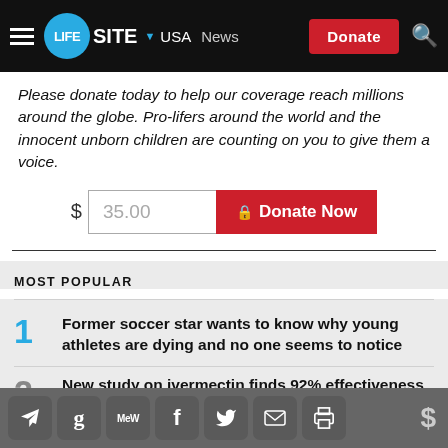LIFESITE | USA News | Donate
Please donate today to help our coverage reach millions around the globe. Pro-lifers around the world and the innocent unborn children are counting on you to give them a voice.
$ 35.00 | Donate Now
MOST POPULAR
1 Former soccer star wants to know why young athletes are dying and no one seems to notice
2 New study on ivermectin finds 92% effectiveness
Social share icons: Telegram, Gettr, MeWe, Facebook, Twitter, Email, Print | Donate $